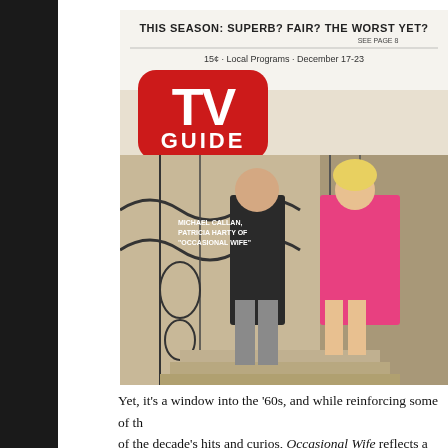[Figure (photo): TV Guide magazine cover showing Michael Callan and Patricia Harty of 'Occasional Wife'. The cover headline reads 'THIS SEASON: SUPERB? FAIR? THE WORST YET? SEE PAGE 8'. Subtitle: '15¢ · Local Programs · December 17-23'. The TV Guide logo is shown in red. The two actors are posing on exterior stairs, woman in pink dress leaning on man's shoulder.]
Yet, it's a window into the '60s, and while reinforcing some of the of the decade's hits and curios, Occasional Wife reflects a different those advertiser-sought youthful urbanites — and therefore offer